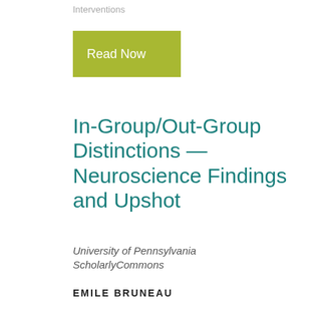Interventions
[Figure (other): Olive/yellow-green rectangular button with white text reading 'Read Now']
In-Group/Out-Group Distinctions — Neuroscience Findings and Upshot
University of Pennsylvania ScholarlyCommons
EMILE BRUNEAU